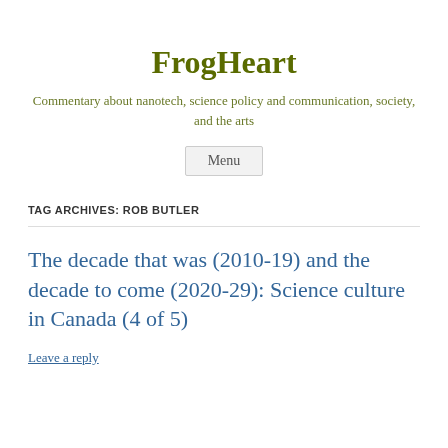FrogHeart
Commentary about nanotech, science policy and communication, society, and the arts
Menu
TAG ARCHIVES: ROB BUTLER
The decade that was (2010-19) and the decade to come (2020-29): Science culture in Canada (4 of 5)
Leave a reply